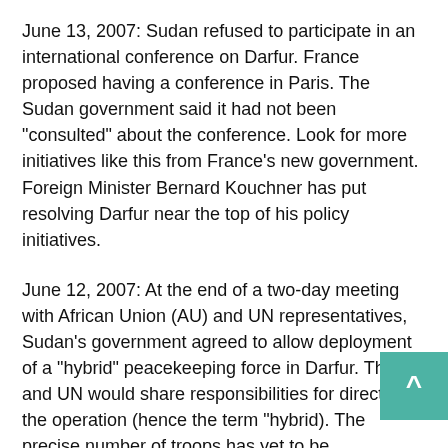June 13, 2007: Sudan refused to participate in an international conference on Darfur. France proposed having a conference in Paris. The Sudan government said it had not been "consulted" about the conference. Look for more initiatives like this from France's new government. Foreign Minister Bernard Kouchner has put resolving Darfur near the top of his policy initiatives.
June 12, 2007: At the end of a two-day meeting with African Union (AU) and UN representatives, Sudan's government agreed to allow deployment of a "hybrid" peacekeeping force in Darfur. The AU and UN would share responsibilities for directing the operation (hence the term "hybrid). The precise number of troops has yet to be determined, but the UN has plans for a force ranging in size from 17,000 to 21,000 (which is probably why some sources refer to a force of 19,000).